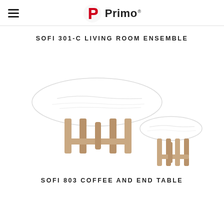Primo
SOFI 301-C LIVING ROOM ENSEMBLE
[Figure (photo): Two tables side by side: a large oval coffee table with white marble top and crossed wooden legs, and a smaller round end table with white marble top and four wooden legs. Both have light wood frames.]
SOFI 803 COFFEE AND END TABLE